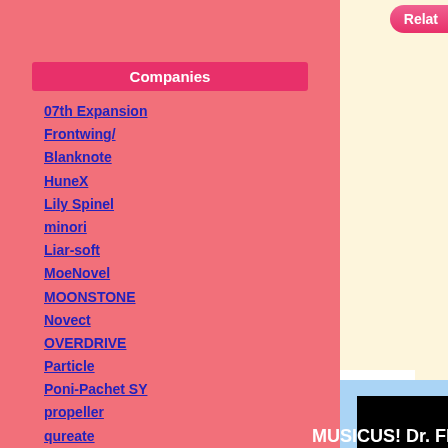Relat
Companies
07th Expansion
Frontwing/
Blanknote
HuneX
Lily Spinel
minori
Liar-soft
MoeNovel
MOONSTONE
Novect
OVERDRIVE
Particle
Poni-Pachet SY
propeller
qureate
St. Michaels
...More
Latest Review
Go! Go! Nippon! 2016 (download)
The sisters in this game are so fascinating. Th...
[Figure (screenshot): Black video player area showing 'MUSICUS! Dr. Flower' text on black background]